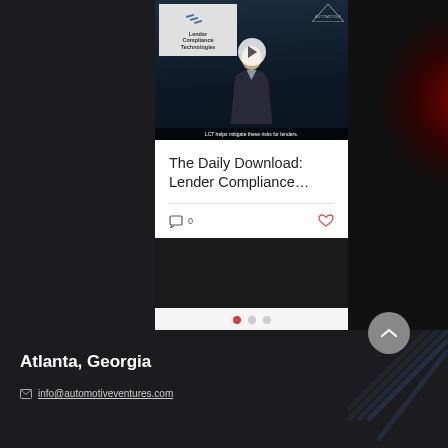[Figure (screenshot): Video thumbnail showing a man in a suit seated against a city skyline background, with the Lender Compliance Technologies logo in the upper left and a play button overlay. Caption reads: LCT helps mitigate these risks for lenders.]
The Daily Download: Lender Compliance…
0 comments, 0 likes
Atlanta, Georgia
info@automotiveventures.com